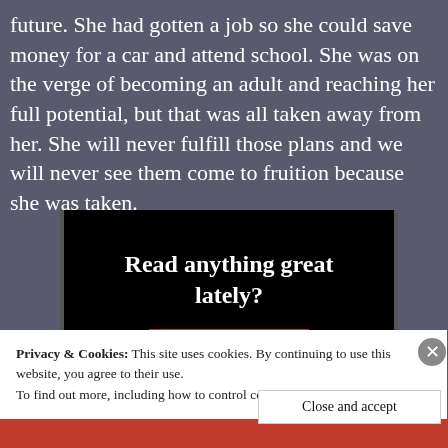future.  She had gotten a job so she could save money for a car and attend school.  She was on the verge of becoming an adult and reaching her full potential, but that was all taken away from her.  She will never fulfill those plans and we will never see them come to fruition because she was taken.
[Figure (other): A promotional banner with black background reading 'Read anything great lately?' with a red 'Start reading' button]
Privacy & Cookies: This site uses cookies. By continuing to use this website, you agree to their use.
To find out more, including how to control cookies, see here: Cookie Policy
Close and accept